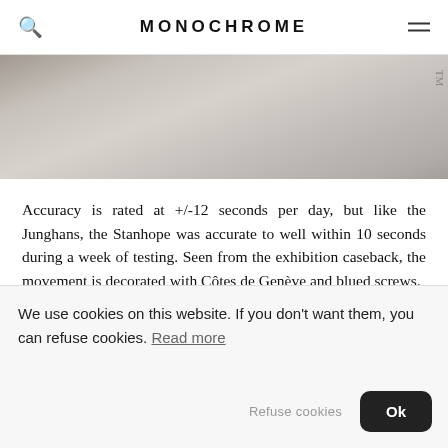MONOCHROME
[Figure (photo): Close-up photograph of a watch case back or movement, showing silver metal surfaces with 'TM' marking visible]
Accuracy is rated at +/-12 seconds per day, but like the Junghans, the Stanhope was accurate to well within 10 seconds during a week of testing. Seen from the exhibition caseback, the movement is decorated with Côtes de Genève and blued screws.
STRAP
We use cookies on this website. If you don't want them, you can refuse cookies. Read more